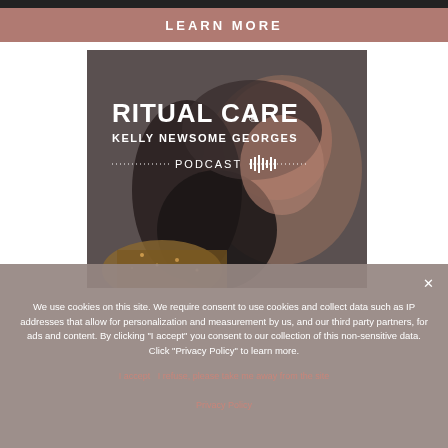LEARN MORE
[Figure (illustration): Ritual Care podcast cover art featuring Kelly Newsome Georges with text RITUAL CARE, KELLY NEWSOME GEORGES, PODCAST and audio waveform graphic over a dark photo of a woman]
We use cookies on this site. We require consent to use cookies and collect data such as IP addresses that allow for personalization and measurement by us, and our third party partners, for ads and content. By clicking "I accept" you consent to our collection of this non-sensitive data. Click "Privacy Policy" to learn more.
I accept  I refuse, please take me away from the site
Privacy Policy